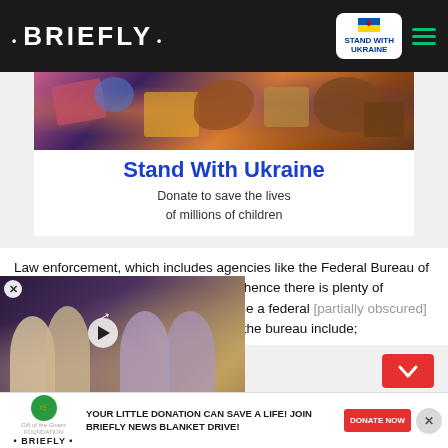• BRIEFLY • | STAND WITH UKRAINE
[Figure (photo): Colorful photo above Stand With Ukraine donation banner]
Stand With Ukraine
Donate to save the lives of millions of children
Law enforcement, which includes agencies like the Federal Bureau of Investigations, is a high-demand field; hence there is plenty of potential for good income if you become a federal [agent carrying out different tasks based on their role. Officers in the bureau include;]
[Figure (photo): Video thumbnail showing TV heart-throbs group photo with overlay label: FROM TELEVISION HEART-THROBS TO MEME CELEBS]
[apply for a Social Relief
YOUR LITTLE DONATION CAN SAVE A LIFE! JOIN BRIEFLY NEWS BLANKET DRIVE! DONATE NOW